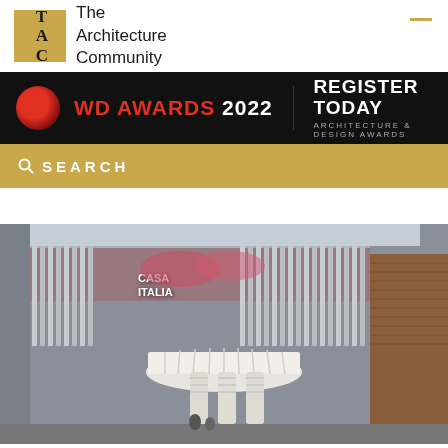The Architecture Community
[Figure (screenshot): WD Awards 2022 Register Today - Architecture & Design Awards banner advertisement on dark background with red circular logo]
SEARCH
[Figure (photo): Exterior photo of Casa Italia architectural installation featuring metallic vertical strip curtains, pink floral display behind glass, large white ribbed mushroom-shaped structure (fountain or pavilion), and cylindrical columns at ground level]